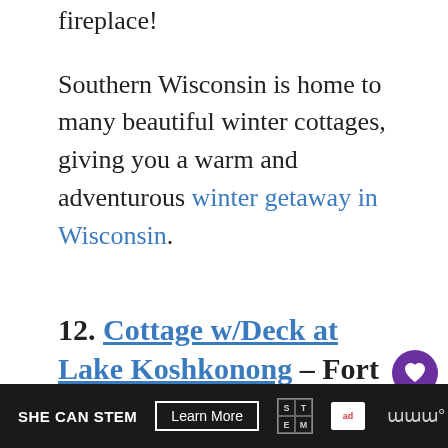fireplace!
Southern Wisconsin is home to many beautiful winter cottages, giving you a warm and adventurous winter getaway in Wisconsin.
12. Cottage w/Deck at Lake Koshkonong – Fort Atkinson
[Figure (photo): Exterior photo of a cottage with wooden roof structure and deck, trees in background, blue sky]
SHE CAN STEM  Learn More  [Ad Council logo]